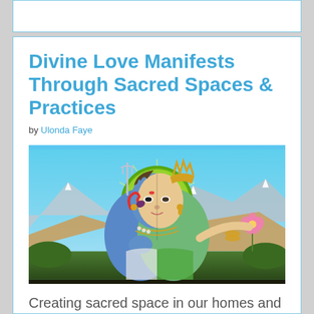Divine Love Manifests Through Sacred Spaces & Practices
by Ulonda Faye
[Figure (illustration): Hindu deity illustration showing Ardhanarishvara (half Shiva, half Parvati) against mountain landscape with blue sky. Left half shows Shiva with blue skin, trident, and cobra; right half shows Parvati with golden ornaments holding a lotus flower.]
Creating sacred space in our homes and lives opens us up to connecting with, and being, Divine Love. This becomes more